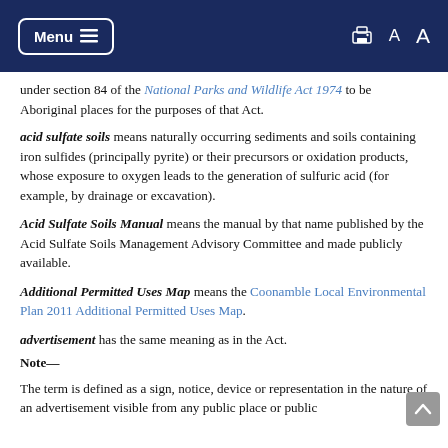Menu
under section 84 of the National Parks and Wildlife Act 1974 to be Aboriginal places for the purposes of that Act.
acid sulfate soils means naturally occurring sediments and soils containing iron sulfides (principally pyrite) or their precursors or oxidation products, whose exposure to oxygen leads to the generation of sulfuric acid (for example, by drainage or excavation).
Acid Sulfate Soils Manual means the manual by that name published by the Acid Sulfate Soils Management Advisory Committee and made publicly available.
Additional Permitted Uses Map means the Coonamble Local Environmental Plan 2011 Additional Permitted Uses Map.
advertisement has the same meaning as in the Act.
Note—
The term is defined as a sign, notice, device or representation in the nature of an advertisement visible from any public place or public